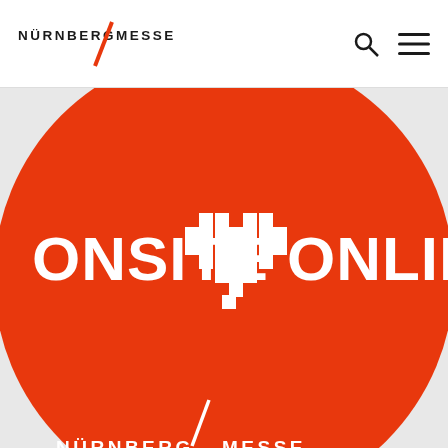[Figure (logo): NürnbergMesse logo in header — wordmark with diagonal red slash between NÜRNBERG and MESSE]
[Figure (illustration): Large orange circle containing white bold text 'ONSITE + ONLINE' with a pixelated white heart icon between the words, and NürnbergMesse white logo at the bottom of the circle]